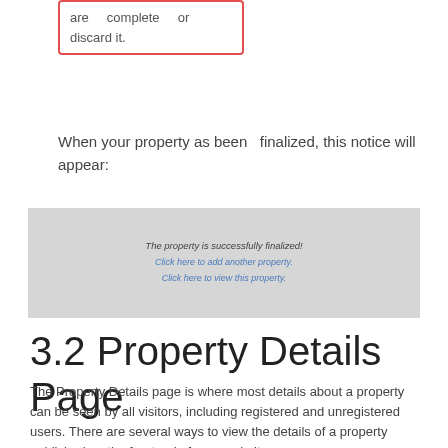are complete or discard it.
When your property as been finalized, this notice will appear:
[Figure (screenshot): Gray notification box showing: 'The property is successfully finalized!' with two links: 'Click here to add another property.' and 'Click here to view this property.']
3.2 Property Details Page
The Property Details page is where most details about a property can be seen by all visitors, including registered and unregistered users. There are several ways to view the details of a property published on the frontend of your website.
As Admin/Super User/Agent, after entering and finalizing the property details in the Add Listing platform, select "Click here